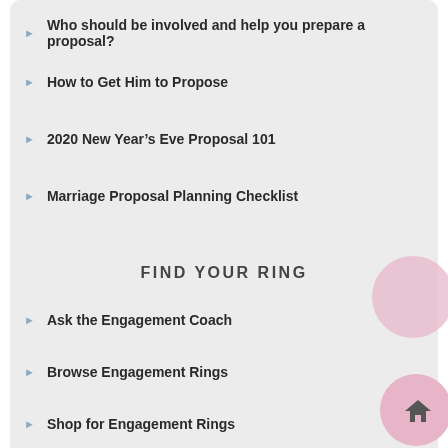Who should be involved and help you prepare a proposal?
How to Get Him to Propose
2020 New Year's Eve Proposal 101
Marriage Proposal Planning Checklist
FIND YOUR RING
Ask the Engagement Coach
Browse Engagement Rings
Shop for Engagement Rings
Comments (2)
noemi fernandez says: January 22, 2015 at 3:57 pm